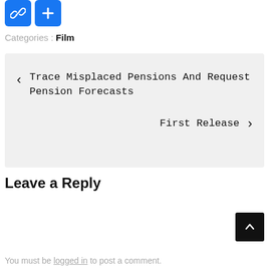[Figure (other): Two blue icon buttons: a chain link icon and a plus icon]
Categories : Film
< Trace Misplaced Pensions And Request Pension Forecasts
First Release >
Leave a Reply
[Figure (other): Back to top button (dark square with upward chevron)]
You must be logged in to post a comment.